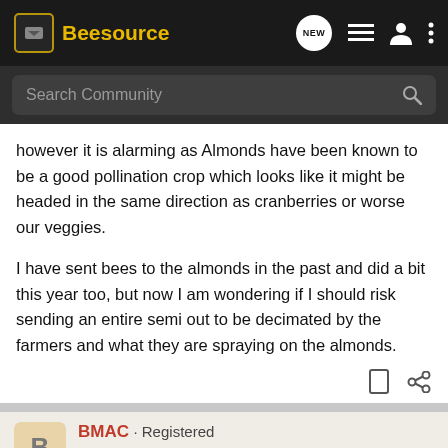Beesource
however it is alarming as Almonds have been known to be a good pollination crop which looks like it might be headed in the same direction as cranberries or worse our veggies.

I have sent bees to the almonds in the past and did a bit this year too, but now I am wondering if I should risk sending an entire semi out to be decimated by the farmers and what they are spraying on the almonds.
BMAC · Registered
[Figure (screenshot): Chevrolet Silverado HD advertisement: FLEX YOUR WORK MUSCLES. Available Multi-Flex Tailgate. Silverado HD.]